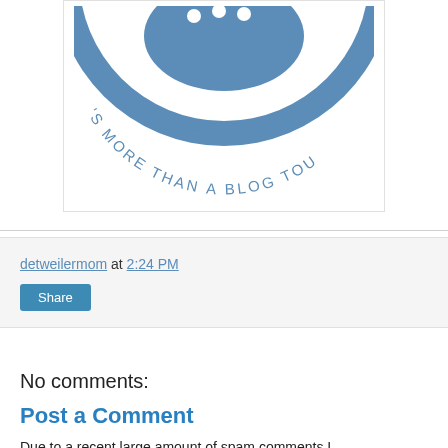[Figure (logo): Circular logo with text 'S MORE THAN A BLOG TOU' around the edge, blue color, partial view showing bottom arc of circular badge]
detweilermom at 2:24 PM
Share
No comments:
Post a Comment
Due to a recent large amount of spam comments I